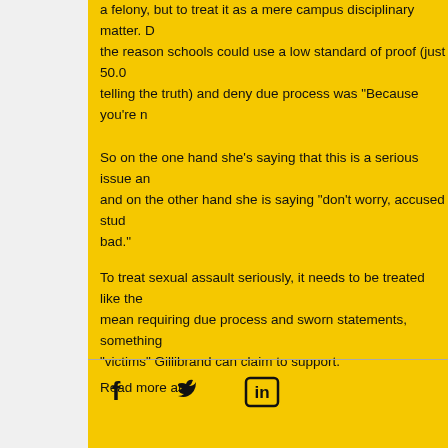a felony, but to treat it as a mere campus disciplinary matter. D the reason schools could use a low standard of proof (just 50.0 telling the truth) and deny due process was "Because you're n
So on the one hand she's saying that this is a serious issue an and on the other hand she is saying "don't worry, accused stud bad."
To treat sexual assault seriously, it needs to be treated like the mean requiring due process and sworn statements, something "victims" Gillibrand can claim to support.
Read more at:
[Figure (infographic): Social media sharing icons: Facebook (f), Twitter (bird), LinkedIn (in)]